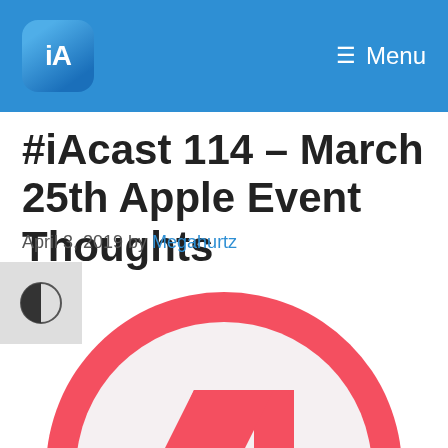iA Menu
#iAcast 114 – March 25th Apple Event Thoughts
April 3, 2019 by Megahurtz
[Figure (logo): Apple News app icon — large red circle with white N letterform inside, on light gray background. A contrast toggle button (half-circle icon) appears to the left.]